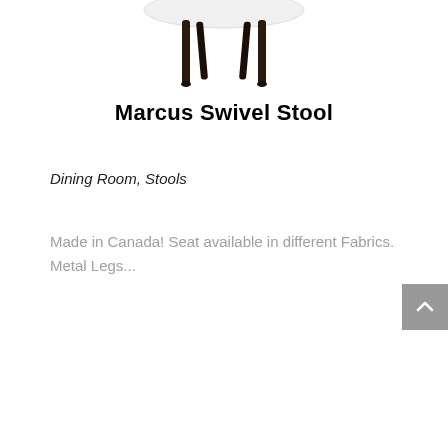[Figure (photo): Partial view of a stool with dark wooden/metal legs against a white background, cropped at top]
Marcus Swivel Stool
Dining Room, Stools
Made in Canada! Seat available in different Fabrics. Metal Legs...